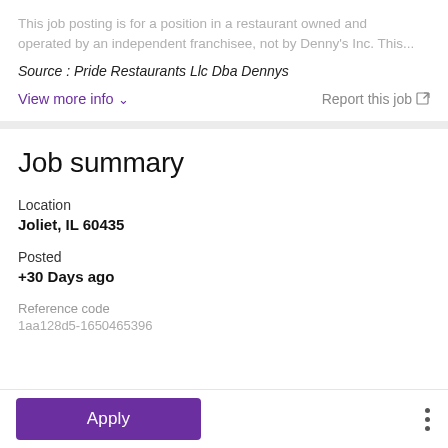This job posting is for a position in a restaurant owned and operated by an independent franchisee, not by Denny's Inc. This means the independent franchisee, and not Denny's Inc., is alone responsible for all employment related matters in the restaurant including, among other things, setting any requirements for this job, and all decisions concerning hiring, firing, discipline, supervision, staffing and scheduling. Denny's Inc. will not receive a copy of any application you submit for this job posting and will have no control over whether you receive an interview and/or are ultimately hired, does not control and is not responsible for the employment policies and practices of independent franchisees, and does not employ independent franchisees' employees. If you are hired for this job posting, the independent franchisee, and not Denny's Inc., will be your employer. This job posting contains some information about what it is like to work in a Denny's restaurant, but is not a complete job description. People who work in a Denny's restaurant perform a number of different tasks every day, and this posting does not list all of the essential functions of this job.
Source : Pride Restaurants Llc Dba Dennys
View more info
Report this job
Job summary
Location
Joliet, IL 60435
Posted
+30 Days ago
Reference code
1aa128d5-1650465396
Apply